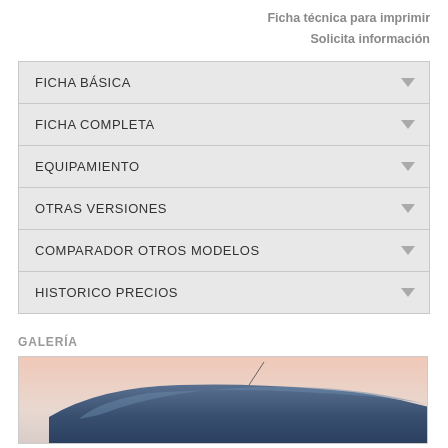Ficha técnica para imprimir
Solicita información
FICHA BÁSICA
FICHA COMPLETA
EQUIPAMIENTO
OTRAS VERSIONES
COMPARADOR OTROS MODELOS
HISTORICO PRECIOS
GALERÍA
[Figure (photo): Partial view of a car (top/roof) photographed from the side, with a light pinkish-orange background sky]